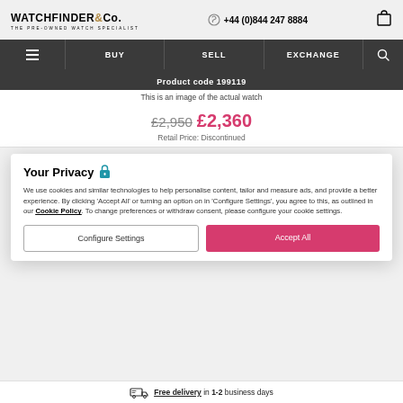WATCHFINDER & Co. THE PRE-OWNED WATCH SPECIALIST | +44 (0)844 247 8884
BUY | SELL | EXCHANGE
Product code 199119
This is an image of the actual watch
£2,950 £2,360
Retail Price: Discontinued
Your Privacy
We use cookies and similar technologies to help personalise content, tailor and measure ads, and provide a better experience. By clicking 'Accept All' or turning an option on in 'Configure Settings', you agree to this, as outlined in our Cookie Policy. To change preferences or withdraw consent, please configure your cookie settings.
Configure Settings
Accept All
Free delivery in 1-2 business days